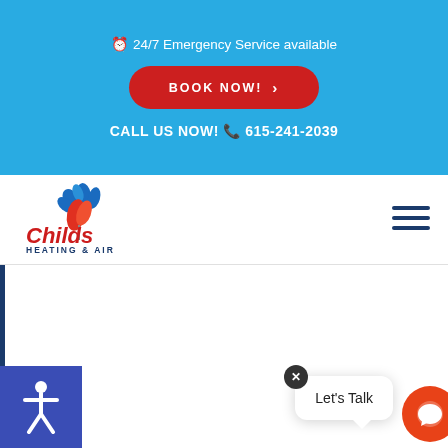24/7 Emergency Service available
BOOK NOW!
CALL US NOW! 615-241-2039
[Figure (logo): Childs Heating & Air logo with blue maple leaf and red flame]
[Figure (illustration): Hamburger menu icon (three horizontal lines)]
[Figure (illustration): Blue accessibility icon (person figure in white on blue background)]
Let's Talk